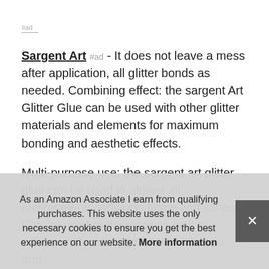#ad
Sargent Art #ad - It does not leave a mess after application, all glitter bonds as needed. Combining effect: the sargent Art Glitter Glue can be used with other glitter materials and elements for maximum bonding and aesthetic effects.
Multi-purpose use: the sargent art glitter glue can be used in almost all environments, artwork, home and school. Can be used to decorate as well as adhere materials together. Bonds easi... and... pap...
As an Amazon Associate I earn from qualifying purchases. This website uses the only necessary cookies to ensure you get the best experience on our website. More information